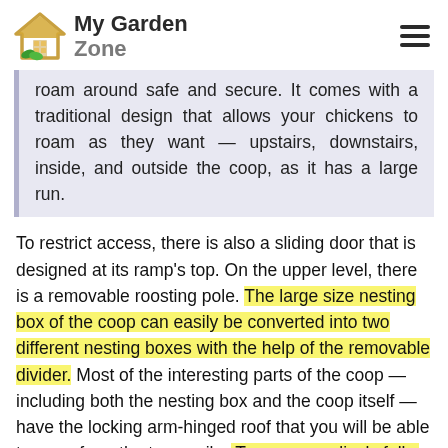My Garden Zone
roam around safe and secure. It comes with a traditional design that allows your chickens to roam as they want — upstairs, downstairs, inside, and outside the coop, as it has a large run.
To restrict access, there is also a sliding door that is designed at its ramp's top. On the upper level, there is a removable roosting pole. The large size nesting box of the coop can easily be converted into two different nesting boxes with the help of the removable divider. Most of the interesting parts of the coop — including both the nesting box and the coop itself — have the locking arm-hinged roof that you will be able to open from the top easily. To save your lively folks from predators, there is the galvanized mesh metal grid. As